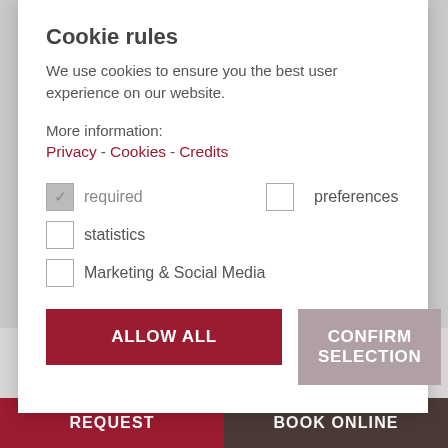Cookie rules
We use cookies to ensure you the best user experience on our website.
More information:
Privacy - Cookies - Credits
required (checked)
preferences (unchecked)
statistics (unchecked)
Marketing & Social Media (unchecked)
ALLOW ALL
CONFIRM SELECTION
WELLNESS
Relaxing and restoring
REQUEST
BOOK ONLINE